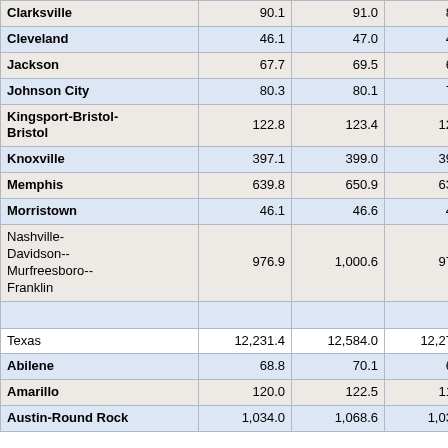| City | Col1 | Col2 | Col3 | Col4 | Col5 |
| --- | --- | --- | --- | --- | --- |
| Clarksville | 90.1 | 91.0 | 88.7 | 89.3 | 0 |
| Cleveland | 46.1 | 47.0 | 45.8 | 46.3 | 0 |
| Jackson | 67.7 | 69.5 | 67.9 | 70.0 | 2 |
| Johnson City | 80.3 | 80.1 | 77.7 | 77.5 | -0 |
| Kingsport-Bristol-Bristol | 122.8 | 123.4 | 121.2 | 122.0 | 0 |
| Knoxville | 397.1 | 399.0 | 392.3 | 394.6 | 2 |
| Memphis | 639.8 | 650.9 | 638.1 | 653.4 | 15 |
| Morristown | 46.1 | 46.6 | 45.1 | 46.1 | 1 |
| Nashville-Davidson--Murfreesboro--Franklin | 976.9 | 1,000.6 | 975.9 | 996.5 | 20 |
|  |  |  |  |  |  |
| Texas | 12,231.4 | 12,584.0 | 12,275.6 | 12,628.1 | 352 |
| Abilene | 68.8 | 70.1 | 68.7 | 70.1 | 1 |
| Amarillo | 120.0 | 122.5 | 119.3 | 122.2 | 2 |
| Austin-Round Rock | 1,034.0 | 1,068.6 | 1,038.4 | 1,074.1 | 35 |